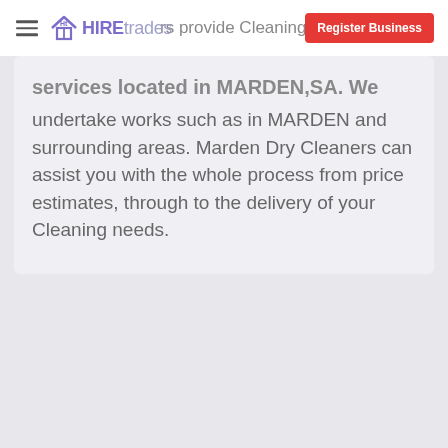HIREtrades
services located in MARDEN,SA. We undertake works such as in MARDEN and surrounding areas. Marden Dry Cleaners can assist you with the whole process from price estimates, through to the delivery of your Cleaning needs.